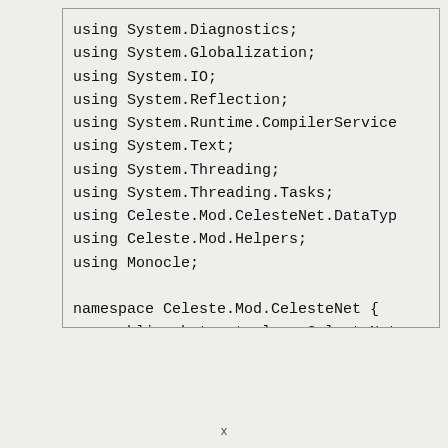using System.Diagnostics;
using System.Globalization;
using System.IO;
using System.Reflection;
using System.Runtime.CompilerService
using System.Text;
using System.Threading;
using System.Threading.Tasks;
using Celeste.Mod.CelesteNet.DataTyp
using Celeste.Mod.Helpers;
using Monocle;

namespace Celeste.Mod.CelesteNet {
    public abstract class CelesteNet